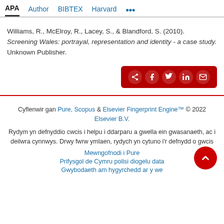APA  Author  BIBTEX  Harvard  ...
Williams, R., McElroy, R., Lacey, S., & Blandford, S. (2010). Screening Wales: portrayal, representation and identity - a case study. Unknown Publisher.
[Figure (other): Social share button row with share, Facebook, Twitter, LinkedIn, and email icons on a red background]
Cyflenwir gan Pure, Scopus & Elsevier Fingerprint Engine™ © 2022 Elsevier B.V.
Rydym yn defnyddio cwcis i helpu i ddarparu a gwella ein gwasanaeth, ac i deilwra cynnwys. Drwy fwrw ymlaen, rydych yn cytuno i'r defnydd o gwcis
Mewngofnodi i Pure
Prifysgol de Cymru polisi diogelu data
Gwybodaeth am hygyrchedd ar y we